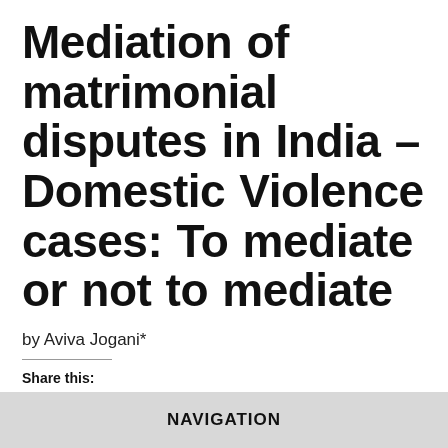Mediation of matrimonial disputes in India – Domestic Violence cases: To mediate or not to mediate
by Aviva Jogani*
Share this:
[Figure (other): Social share icons: print, Twitter, Facebook, LinkedIn, WhatsApp, Telegram, email, More button]
NAVIGATION